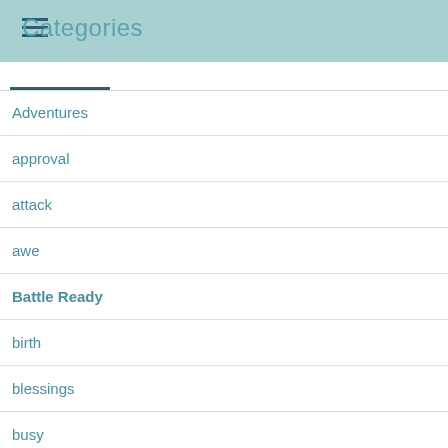Categories
Adventures
approval
attack
awe
Battle Ready
birth
blessings
busy